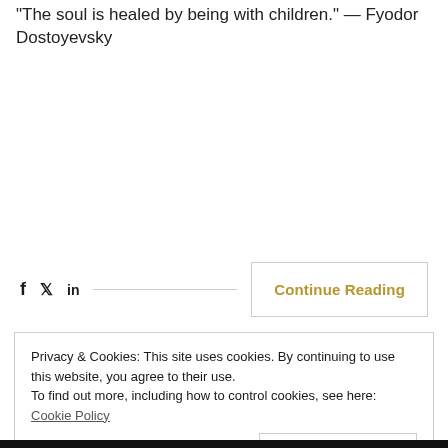"The soul is healed by being with children." — Fyodor Dostoyevsky
[Figure (other): Social sharing icons (Facebook, Twitter, LinkedIn) with a divider line and a Continue Reading button]
Privacy & Cookies: This site uses cookies. By continuing to use this website, you agree to their use.
To find out more, including how to control cookies, see here: Cookie Policy
Close and accept